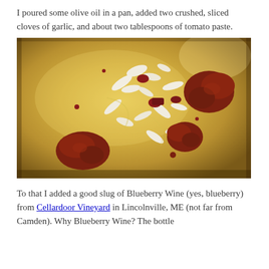I poured some olive oil in a pan, added two crushed, sliced cloves of garlic, and about two tablespoons of tomato paste.
[Figure (photo): A metal pan with olive oil, sliced garlic cloves, and dollops of tomato paste scattered across the shiny surface.]
To that I added a good slug of Blueberry Wine (yes, blueberry) from Cellardoor Vineyard in Lincolnville, ME (not far from Camden). Why Blueberry Wine? The bottle